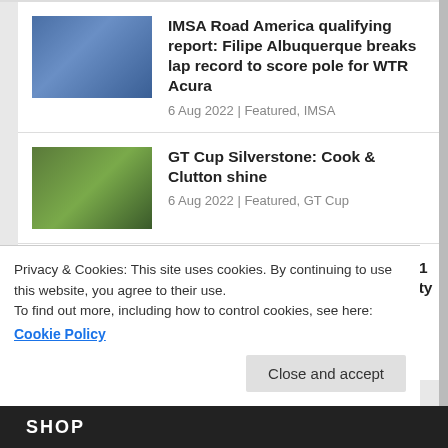IMSA Road America qualifying report: Filipe Albuquerque breaks lap record to score pole for WTR Acura
6 Aug 2022 | Featured, IMSA
GT Cup Silverstone: Cook & Clutton shine
6 Aug 2022 | Featured, GT Cup
GTWC Australia Queensland race 1 report: Triple Eight helped by safety car to win first race of the season
6 Aug 2022 | Featured, GTWC Australia
Privacy & Cookies: This site uses cookies. By continuing to use this website, you agree to their use.
To find out more, including how to control cookies, see here:
Cookie Policy
Close and accept
SHOP